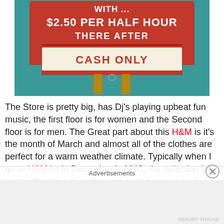[Figure (photo): Photo of a red and white parking/store sign reading '$2.50 PER HALF HOUR THERE AFTER' and 'CASH ONLY' on a teal/green background, mounted on a wooden stand.]
The Store is pretty big, has Dj's playing upbeat fun music, the first floor is for women and the Second floor is for men. The Great part about this H&M is it's the month of March and almost all of the clothes are perfect for a warm weather climate. Typically when I go to H&M its in December in NYC, the selection is quite different. I think they did a really nice job of picking climate appropriate
Advertisements